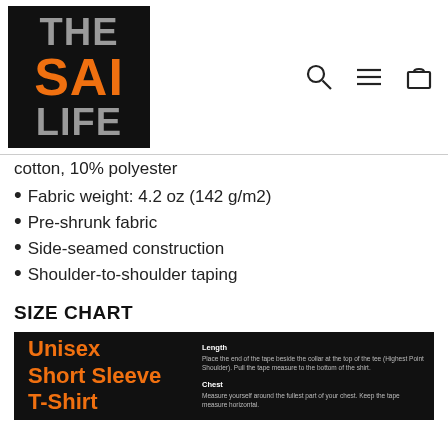[Figure (logo): The Sai Life logo — black square background with 'THE' and 'LIFE' in gray bold, 'SAI' in orange bold, stacked vertically]
cotton, 10% polyester
Fabric weight: 4.2 oz (142 g/m2)
Pre-shrunk fabric
Side-seamed construction
Shoulder-to-shoulder taping
SIZE CHART
[Figure (infographic): Unisex Short Sleeve T-Shirt size chart infographic on dark background. Left side shows product name in orange bold text. Right side shows measurement instructions for Length and Chest.]